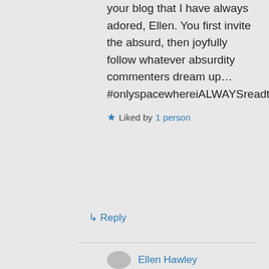your blog that I have always adored, Ellen. You first invite the absurd, then joyfully follow whatever absurdity commenters dream up… #onlyspacewhereiALWAYSreadthecomments
★ Liked by 1 person
↳ Reply
Ellen Hawley